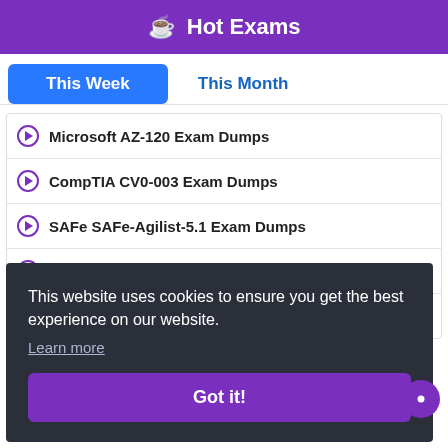Hot Exams
This Week
This Month
Microsoft AZ-120 Exam Dumps
CompTIA CV0-003 Exam Dumps
SAFe SAFe-Agilist-5.1 Exam Dumps
SAP E_HANABW_13 Exam Dumps
Fortinet NSE7_SAC-6.2 Exam Dumps
This website uses cookies to ensure you get the best experience on our website.
Learn more
Got it!
Cisco 300-425 Exam Dumps